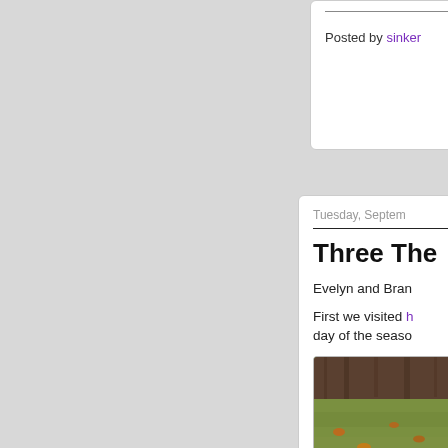Posted by sinker...
Tuesday, Septem...
Three The...
Evelyn and Bran...
First we visited h... day of the seaso...
[Figure (photo): Outdoor photo showing grass with fallen leaves and a blue object, with a large tree trunk visible at the top]